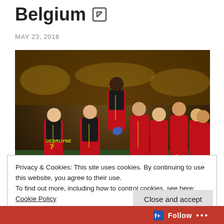Belgium
MAY 23, 2016
[Figure (photo): Belgium national football team players celebrating in red and black jerseys, including player #7 De Bruyne, on a football pitch at night]
Privacy & Cookies: This site uses cookies. By continuing to use this website, you agree to their use.
To find out more, including how to control cookies, see here: Cookie Policy
Close and accept
Follow